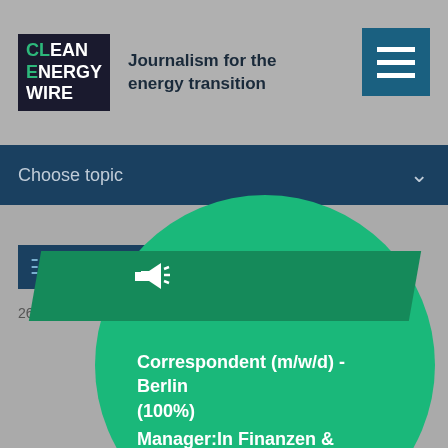CLEAN ENERGY WIRE — Journalism for the energy transition
Choose topic
26 May 20…
[Figure (screenshot): Green circle popup overlay showing job listings: 'Correspondent (m/w/d) - Berlin (100%)' and 'Manager:In Finanzen & Operatives (m/w/d) (50%-100%)' with a megaphone icon and a right arrow, plus a close (X) button in dark green]
Correspondent (m/w/d) - Berlin (100%)
Manager:In Finanzen & Operatives (m/w/d) (50%-100%)
in